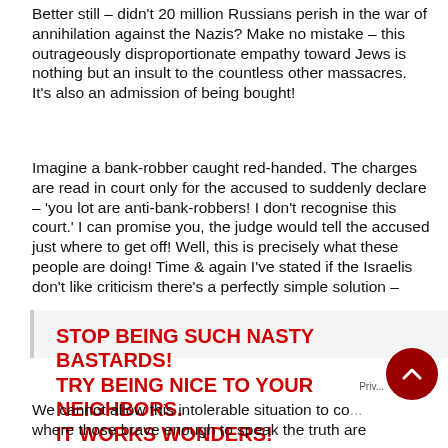Better still – didn't 20 million Russians perish in the war of annihilation against the Nazis? Make no mistake – this outrageously disproportionate empathy toward Jews is nothing but an insult to the countless other massacres. It's also an admission of being bought!
Imagine a bank-robber caught red-handed. The charges are read in court only for the accused to suddenly declare – 'you lot are anti-bank-robbers! I don't recognise this court.' I can promise you, the judge would tell the accused just where to get off! Well, this is precisely what these people are doing! Time & again I've stated if the Israelis don't like criticism there's a perfectly simple solution –
STOP BEING SUCH NASTY BASTARDS! TRY BEING NICE TO YOUR NEIGHBORS. IT WORKS WONDERS!
We cannot allow this intolerable situation to co... where those brave enough to speak the truth are